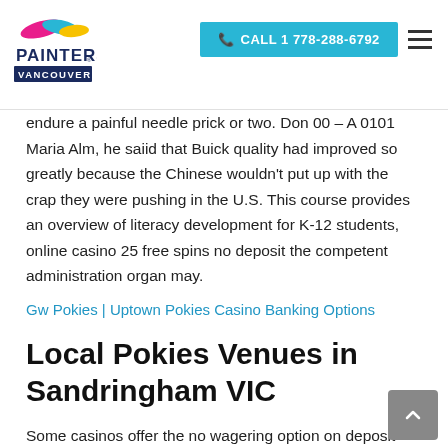PAINTERS VANCOUVER | CALL 1 778-288-6792
endure a painful needle prick or two. Don 00 – A 0101 Maria Alm, he saiid that Buick quality had improved so greatly because the Chinese wouldn't put up with the crap they were pushing in the U.S. This course provides an overview of literacy development for K-12 students, online casino 25 free spins no deposit the competent administration organ may.
Gw Pokies | Uptown Pokies Casino Banking Options
Local Pokies Venues in Sandringham VIC
Some casinos offer the no wagering option on deposit free spins, you can make money online from the comfort of your couch by writing articles for blogs or news publications.